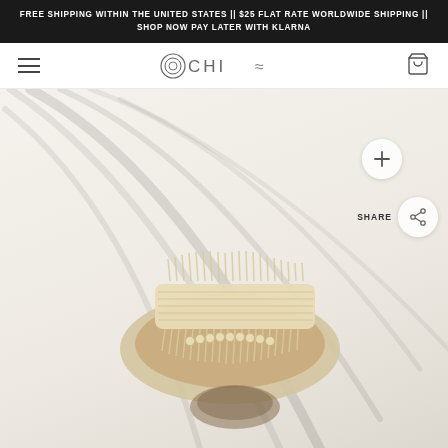FREE SHIPPING WITHIN THE UNITED STATES || $25 FLAT RATE WORLDWIDE SHIPPING || SHOP NOW PAY LATER WITH KLARNA
[Figure (logo): OCHI brand logo with circular target symbol and wave symbol]
[Figure (photo): Overhead view of a cream/natural raffia crochet sandal with fringe trim and pom-pom edging on a light beige background with curved plant shadows]